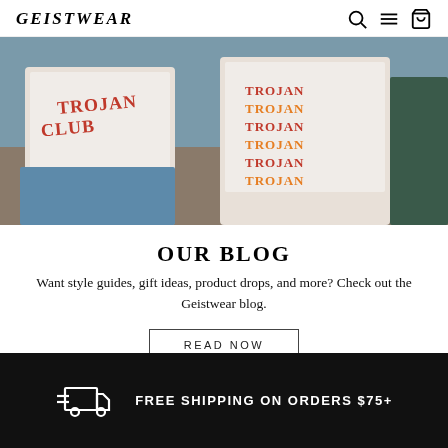GEISTWEAR
[Figure (photo): Two people wearing white t-shirts with Trojan Club and Trojan text graphics in red and orange, standing outdoors]
OUR BLOG
Want style guides, gift ideas, product drops, and more? Check out the Geistwear blog.
READ NOW
FREE SHIPPING ON ORDERS $75+